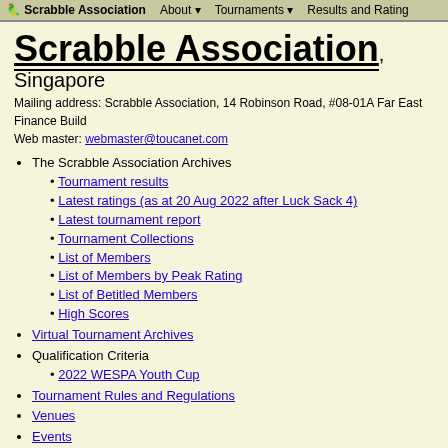Scrabble Association   About ▾   Tournaments ▾   Results and Rating
Scrabble Association, Singapore
Mailing address: Scrabble Association, 14 Robinson Road, #08-01A Far East Finance Build
Web master: webmaster@toucanet.com
The Scrabble Association Archives
Tournament results
Latest ratings (as at 20 Aug 2022 after Luck Sack 4)
Latest tournament report
Tournament Collections
List of Members
List of Members by Peak Rating
List of Betitled Members
High Scores
Virtual Tournament Archives
Qualification Criteria
2022 WESPA Youth Cup
Tournament Rules and Regulations
Venues
Events
10 September - Virtual WESPA Youth Cup 2022 Benefit Tournament
18 September - The Luck Sack 5, Singapore Sports Hub Library (po
18 December - JGCC mini
About the Association
Titles system
Toucanet
Committee